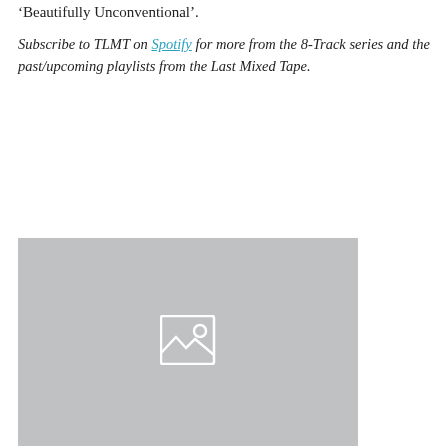‘Beautifully Unconventional’.
Subscribe to TLMT on Spotify for more from the 8-Track series and the past/upcoming playlists from the Last Mixed Tape.
[Figure (photo): Placeholder image with grey background and image icon]